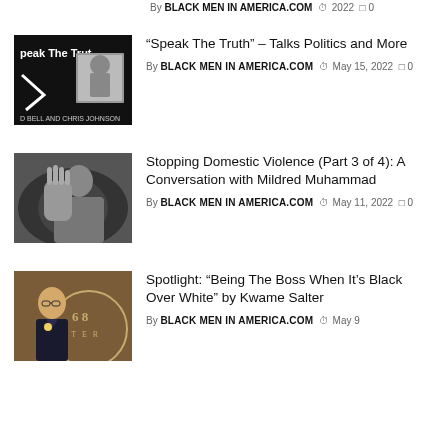By BLACK MEN IN AMERICA.COM  2022  0
[Figure (photo): Book/podcast cover with text 'Speak The Truth' and 'D Bell and Chris Johnson' on a black background with a photo]
“Speak The Truth” – Talks Politics and More
By BLACK MEN IN AMERICA.COM  May 15, 2022  0
[Figure (photo): Black and white photo of a person holding up their hand as if to stop]
Stopping Domestic Violence (Part 3 of 4): A Conversation with Mildred Muhammad
By BLACK MEN IN AMERICA.COM  May 11, 2022  0
[Figure (photo): Photo of a man in a suit with a medal at a podium with text '6 8' visible]
Spotlight: “Being The Boss When It’s Black Over White” by Kwame Salter
By BLACK MEN IN AMERICA.COM  May 9